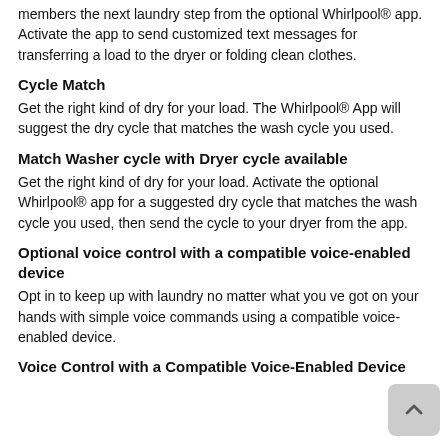members the next laundry step from the optional Whirlpool® app. Activate the app to send customized text messages for transferring a load to the dryer or folding clean clothes.
Cycle Match
Get the right kind of dry for your load. The Whirlpool® App will suggest the dry cycle that matches the wash cycle you used.
Match Washer cycle with Dryer cycle available
Get the right kind of dry for your load. Activate the optional Whirlpool® app for a suggested dry cycle that matches the wash cycle you used, then send the cycle to your dryer from the app.
Optional voice control with a compatible voice-enabled device
Opt in to keep up with laundry no matter what you ve got on your hands with simple voice commands using a compatible voice-enabled device.
Voice Control with a Compatible Voice-Enabled Device